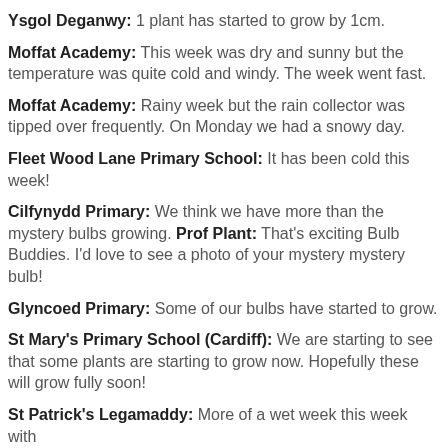Ysgol Deganwy: 1 plant has started to grow by 1cm.
Moffat Academy: This week was dry and sunny but the temperature was quite cold and windy. The week went fast.
Moffat Academy: Rainy week but the rain collector was tipped over frequently. On Monday we had a snowy day.
Fleet Wood Lane Primary School: It has been cold this week!
Cilfynydd Primary: We think we have more than the mystery bulbs growing. Prof Plant: That's exciting Bulb Buddies. I'd love to see a photo of your mystery mystery bulb!
Glyncoed Primary: Some of our bulbs have started to grow.
St Mary's Primary School (Cardiff): We are starting to see that some plants are starting to grow now. Hopefully these will grow fully soon!
St Patrick's Legamaddy: More of a wet week this week with